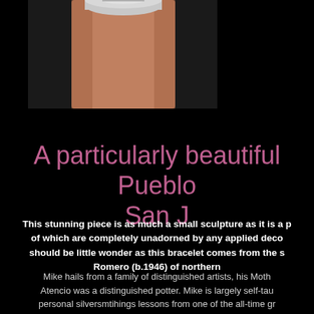[Figure (photo): Close-up photo of a Pueblo silver bracelet/ring on a finger, showing the metalwork at the top and the terracotta/skin-colored cylindrical band.]
A particularly beautiful Pueblo... San J...
This stunning piece is as much a small sculpture as it is a p... of which are completely unadorned by any applied deco... should be little wonder as this bracelet comes from the s... Romero (b.1946) of northern...
Mike hails from a family of distinguished artists, his Moth... Atencio was a distinguished potter. Mike is largely self-tau... personal silversmtihings lessons from one of the all-time gr... time. Mark Chee married a San Juan {Pueblo woman and... some pieces of...